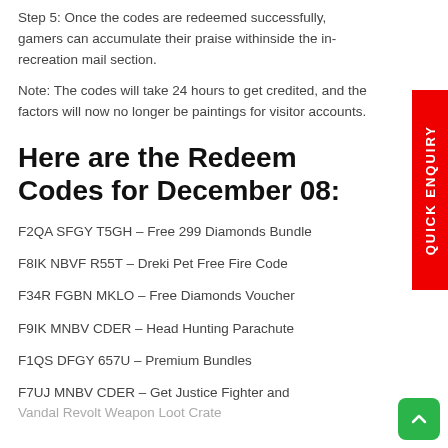Step 5: Once the codes are redeemed successfully, gamers can accumulate their praise withinside the in-recreation mail section.
Note: The codes will take 24 hours to get credited, and the factors will now no longer be paintings for visitor accounts.
Here are the Redeem Codes for December 08:
F2QA SFGY T5GH – Free 299 Diamonds Bundle
F8IK NBVF R55T – Dreki Pet Free Fire Code
F34R FGBN MKLO – Free Diamonds Voucher
F9IK MNBV CDER – Head Hunting Parachute
F1QS DFGY 657U – Premium Bundles
F7UJ MNBV CDER – Get Justice Fighter and Vandal Revolt Weapon Loot Crate